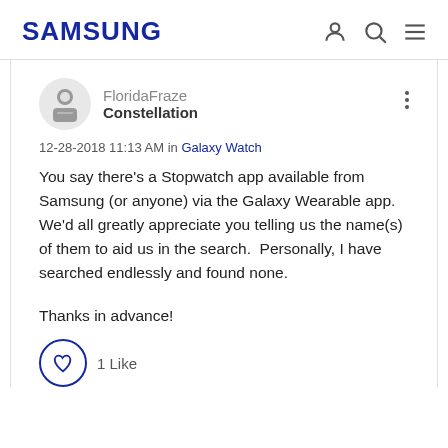SAMSUNG
FloridaFraze
Constellation
12-28-2018 11:13 AM in Galaxy Watch
You say there's a Stopwatch app available from Samsung (or anyone) via the Galaxy Wearable app. We'd all greatly appreciate you telling us the name(s) of them to aid us in the search.  Personally, I have searched endlessly and found none.


Thanks in advance!
1 Like